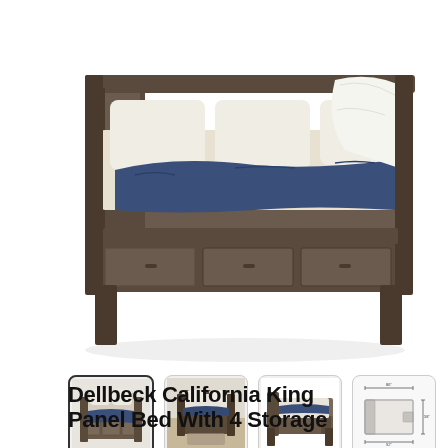[Figure (photo): Main product photo of the Dellbeck California King Panel Bed with 4 storage drawers underneath, dark grey/brown wood frame with cream and navy bedding, viewed from a three-quarter angle against white background.]
[Figure (photo): Thumbnail 1 (selected/active): Front angle view of the Dellbeck bed with storage drawers, similar to the main photo.]
[Figure (photo): Thumbnail 2: Lifestyle room setting showing the Dellbeck bed in a bedroom environment.]
[Figure (photo): Thumbnail 3: Side profile view of the Dellbeck bed showing the headboard and base.]
[Figure (schematic): Thumbnail 4: Technical dimension diagram of the Dellbeck bed with measurements labeled.]
Dellbeck California King Panel Bed With 4 Storage